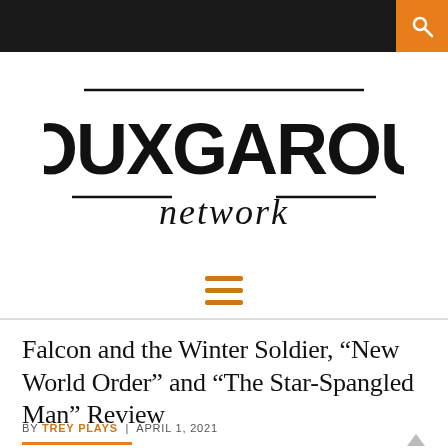Rouxgaroux Network — navigation bar with search
[Figure (logo): Rouxgaroux Network logo in bold black lettering with decorative lines and script 'network' text below]
[Figure (other): Hamburger menu icon (three horizontal orange lines)]
Falcon and the Winter Soldier, “New World Order” and “The Star-Spangled Man” Review
BY TREY PLAYS | APRIL 1, 2021